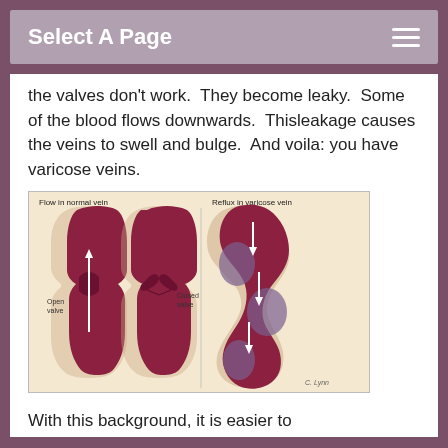Select A Page
the valves don't work.  They become leaky.  Some of the blood flows downwards.  Thisleakage causes the veins to swell and bulge.  And voila: you have varicose veins.
[Figure (illustration): Medical illustration showing three vein diagrams side by side. Left two panels labeled 'Flow in normal vein' show a straight vein with an open valve (arrow pointing up) and a closed valve. Right panel labeled 'Reflux in varicose vein' shows a bulging, tortuous varicose vein with arrows indicating downward reflux flow. Signed 'C. Lynn' in bottom right.]
With this background, it is easier to